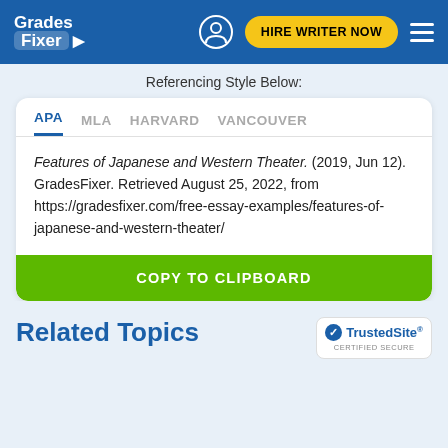Grades Fixer — HIRE WRITER NOW
Referencing Style Below:
APA  MLA  HARVARD  VANCOUVER
Features of Japanese and Western Theater. (2019, Jun 12). GradesFixer. Retrieved August 25, 2022, from https://gradesfixer.com/free-essay-examples/features-of-japanese-and-western-theater/
COPY TO CLIPBOARD
Related Topics
[Figure (logo): TrustedSite Certified Secure badge]